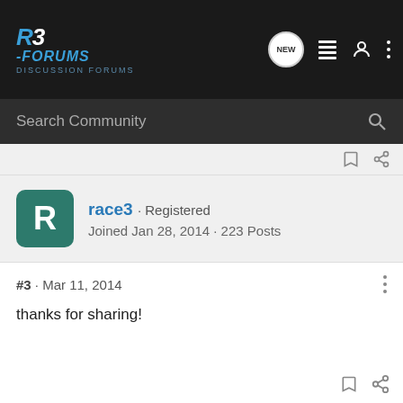R3 Forums
Search Community
race3 · Registered
Joined Jan 28, 2014 · 223 Posts
#3 · Mar 11, 2014
thanks for sharing!